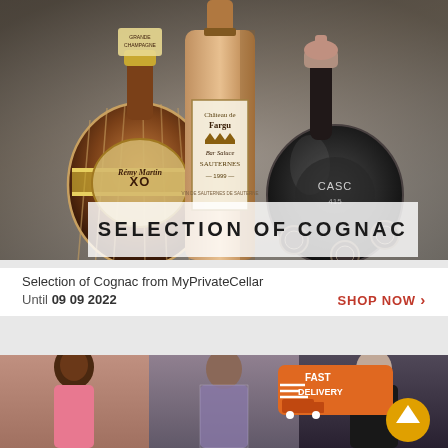[Figure (photo): Three bottles of cognac/wine: Remy Martin XO, Chateau de Fargues Sauternes 1999, and a dark flask-shaped bottle (Casc), arranged on a dark background with a semi-transparent white banner reading SELECTION OF COGNAC.]
SELECTION OF COGNAC
Selection of Cognac from MyPrivateCellar
Until 09 09 2022
SHOP NOW >
[Figure (photo): Fashion/clothing product images showing three women models in various outfits, with a Fast Delivery badge overlay on the right side.]